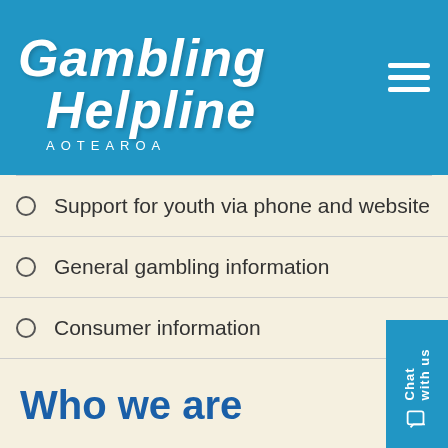Gambling Helpline AOTEAROA
Support for youth via phone and website
General gambling information
Consumer information
Who we are
Gambling Helpline is a 24 hour free-phone service that you can call to receive immediate support, as well as referral and information services for gambling problems. Our services are provided to people: